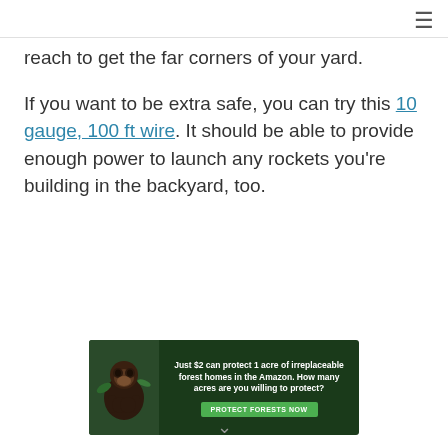≡
reach to get the far corners of your yard.
If you want to be extra safe, you can try this 10 gauge, 100 ft wire. It should be able to provide enough power to launch any rockets you're building in the backyard, too.
[Figure (other): Advertisement banner: dark green forest background with gorilla image. Text reads 'Just $2 can protect 1 acre of irreplaceable forest homes in the Amazon. How many acres are you willing to protect?' with a green button 'PROTECT FORESTS NOW']